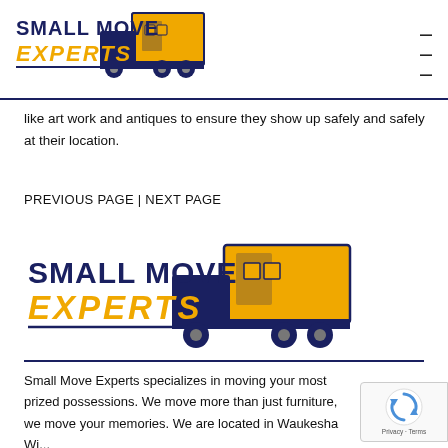[Figure (logo): Small Move Experts logo with navy text and gold moving truck]
like art work and antiques to ensure they show up safely and safely at their location.
PREVIOUS PAGE | NEXT PAGE
[Figure (logo): Small Move Experts logo larger version with navy text and gold moving truck]
Small Move Experts specializes in moving your most prized possessions. We move more than just furniture, we move your memories. We are located in Waukesha Wi...